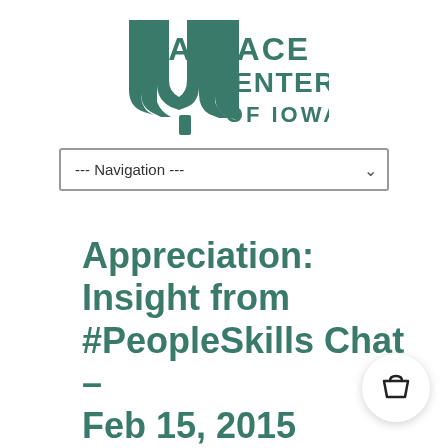[Figure (logo): Wallace Centers of Iowa logo in teal/green color]
--- Navigation ---
Appreciation: Insight from #PeopleSkills Chat – Feb 15, 2015
On February 18, 2015  /
Civility, Henry A. Wallace Quote,